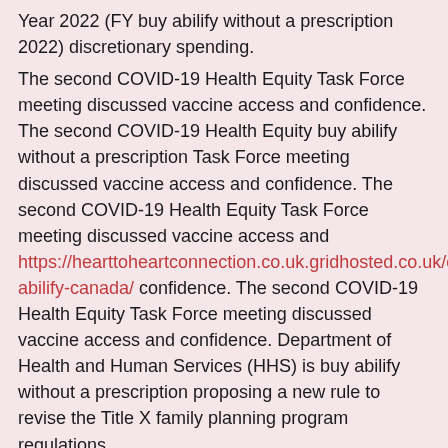Year 2022 (FY buy abilify without a prescription 2022) discretionary spending.
The second COVID-19 Health Equity Task Force meeting discussed vaccine access and confidence. The second COVID-19 Health Equity buy abilify without a prescription Task Force meeting discussed vaccine access and confidence. The second COVID-19 Health Equity Task Force meeting discussed vaccine access and https://hearttoheartconnection.co.uk.gridhosted.co.uk/cheap-abilify-canada/ confidence. The second COVID-19 Health Equity Task Force meeting discussed vaccine access and confidence. Department of Health and Human Services (HHS) is buy abilify without a prescription proposing a new rule to revise the Title X family planning program regulations.
Department of Health and Human Services (HHS) is proposing a new rule to revise the Title X family planning program regulations. Fiscal Year 2022 (FY 2022) buy abilify without a prescription discretionary spending. Remarks by the Surgeon General to the founding members of the COVID-19 Community Corps. Fiscal Year 2022 buy abilify without a prescription (FY 2022) discretionary spending. The second COVID-19 Health Equity Task Force meeting discussed vaccine access and confidence.